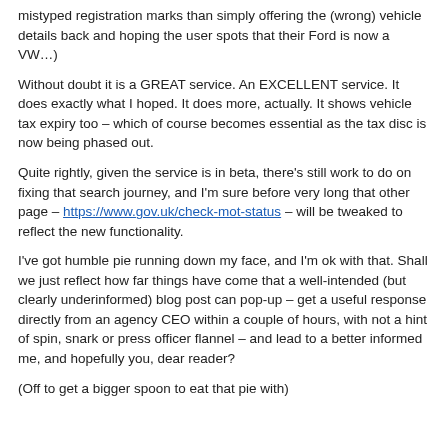mistyped registration marks than simply offering the (wrong) vehicle details back and hoping the user spots that their Ford is now a VW…)
Without doubt it is a GREAT service. An EXCELLENT service. It does exactly what I hoped. It does more, actually. It shows vehicle tax expiry too – which of course becomes essential as the tax disc is now being phased out.
Quite rightly, given the service is in beta, there's still work to do on fixing that search journey, and I'm sure before very long that other page – https://www.gov.uk/check-mot-status – will be tweaked to reflect the new functionality.
I've got humble pie running down my face, and I'm ok with that. Shall we just reflect how far things have come that a well-intended (but clearly underinformed) blog post can pop-up – get a useful response directly from an agency CEO within a couple of hours, with not a hint of spin, snark or press officer flannel – and lead to a better informed me, and hopefully you, dear reader?
(Off to get a bigger spoon to eat that pie with)